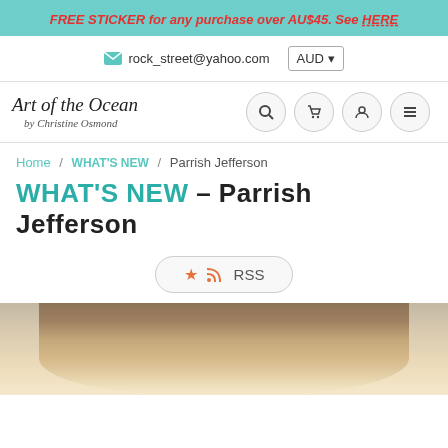FREE STICKER for any purchase over AU$45. See HERE
rock_street@yahoo.com  AUD
[Figure (logo): Art of the Ocean by Christine Osmond handwritten script logo with search, cart, account, and menu icons]
Home / WHAT'S NEW / Parrish Jefferson
WHAT'S NEW – Parrish Jefferson
RSS
[Figure (photo): Close-up photo of a person with blonde hair, top of head visible, wearing dark sunglasses, inside a vehicle]